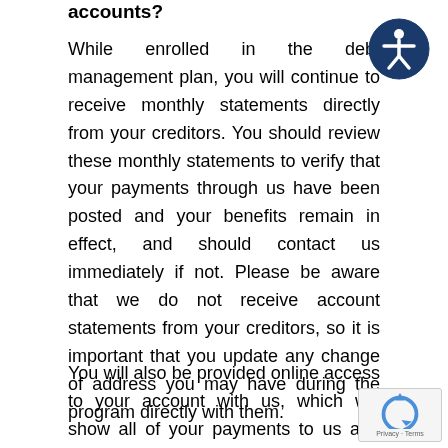accounts?
While enrolled in the debt management plan, you will continue to receive monthly statements directly from your creditors. You should review these monthly statements to verify that your payments through us have been posted and your benefits remain in effect, and should contact us immediately if not. Please be aware that we do not receive account statements from your creditors, so it is important that you update any change of address you may have during the program directly with them.
You will also be provided online access to your account with us, which will show all of your payments to us and our corresponding disbursements to your creditors. If you do not have the ability to access your online account, you may